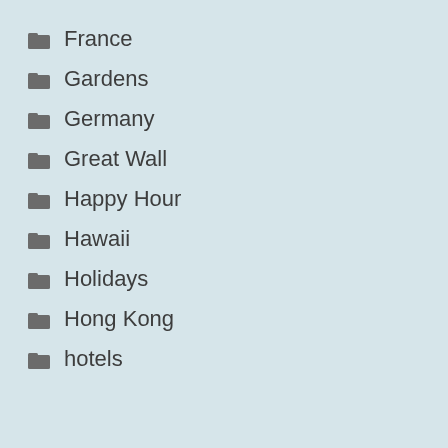France
Gardens
Germany
Great Wall
Happy Hour
Hawaii
Holidays
Hong Kong
hotels